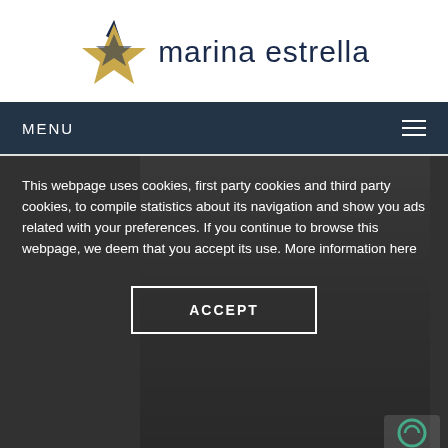[Figure (logo): Marina Estrella logo: gold/dark star graphic on left, brand name 'marina estrella' in dark navy text on right]
MENU
[Figure (photo): Partial photo of a person, visible in the background behind the cookie consent overlay. Dark and gray tones.]
This webpage uses cookies, first party cookies and third party cookies, to compile statistics about its navigation and show you ads related with your preferences. If you continue to browse this webpage, we deem that you accept its use. More information here
ACCEPT